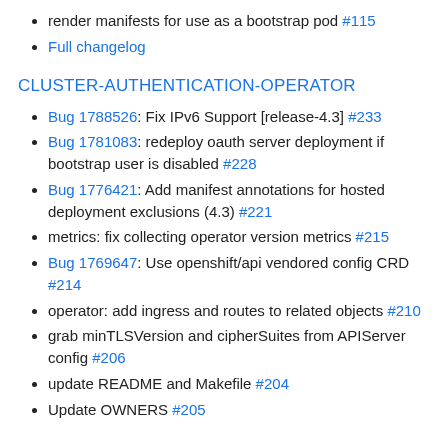render manifests for use as a bootstrap pod #115
Full changelog
CLUSTER-AUTHENTICATION-OPERATOR
Bug 1788526: Fix IPv6 Support [release-4.3] #233
Bug 1781083: redeploy oauth server deployment if bootstrap user is disabled #228
Bug 1776421: Add manifest annotations for hosted deployment exclusions (4.3) #221
metrics: fix collecting operator version metrics #215
Bug 1769647: Use openshift/api vendored config CRD #214
operator: add ingress and routes to related objects #210
grab minTLSVersion and cipherSuites from APIServer config #206
update README and Makefile #204
Update OWNERS #205